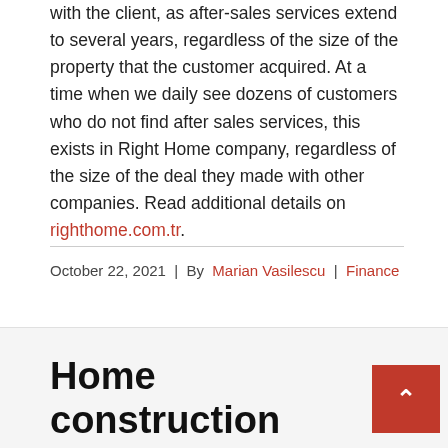with the client, as after-sales services extend to several years, regardless of the size of the property that the customer acquired. At a time when we daily see dozens of customers who do not find after sales services, this exists in Right Home company, regardless of the size of the deal they made with other companies. Read additional details on righthome.com.tr.
October 22, 2021 | By Marian Vasilescu | Finance
Home construction free internet